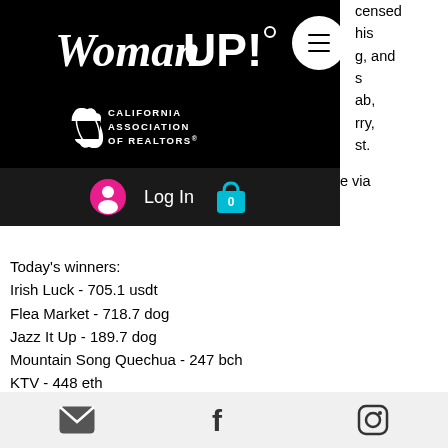[Figure (logo): WomanUP! logo with California Association of Realtors logo below, on black background with hamburger menu button]
censed
his
g, and
s
ab,
rry,
st.
e via
Visa, MasterCard, Bank Wire, Neteller, and Bitcoin.
Today's winners:
Irish Luck - 705.1 usdt
Flea Market - 718.7 dog
Jazz It Up - 189.7 dog
Mountain Song Quechua - 247 bch
KTV - 448 eth
Football Star - 535.9 ltc
Vacation Station Deluxe - 687.6 ltc
World Soccer Slots - 703.4 eth
[Figure (infographic): Footer bar with email icon, Facebook icon, and Instagram icon]